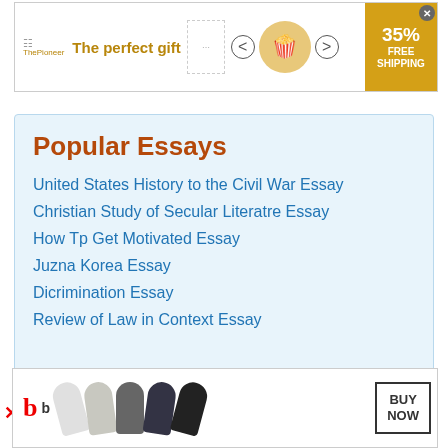[Figure (infographic): Top advertisement banner: 'The perfect gift' with popcorn imagery, navigation arrows, and '35% FREE SHIPPING' badge]
Popular Essays
United States History to the Civil War Essay
Christian Study of Secular Literatre Essay
How Tp Get Motivated Essay
Juzna Korea Essay
Dicrimination Essay
Review of Law in Context Essay
[Figure (infographic): Bottom advertisement banner for Beats headphones with 'BUY NOW' button]